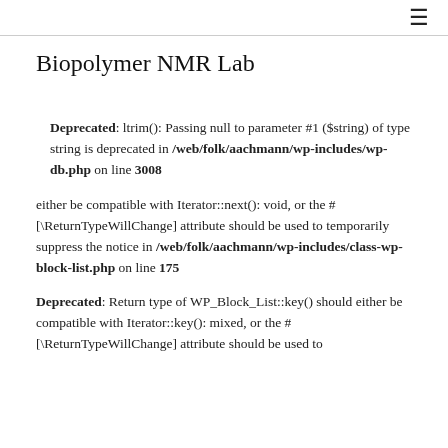≡
Biopolymer NMR Lab
Deprecated: ltrim(): Passing null to parameter #1 ($string) of type string is deprecated in /web/folk/aachmann/wp-includes/wp-db.php on line 3008
either be compatible with Iterator::next(): void, or the #[\ReturnTypeWillChange] attribute should be used to temporarily suppress the notice in /web/folk/aachmann/wp-includes/class-wp-block-list.php on line 175
Deprecated: Return type of WP_Block_List::key() should either be compatible with Iterator::key(): mixed, or the #[\ReturnTypeWillChange] attribute should be used to